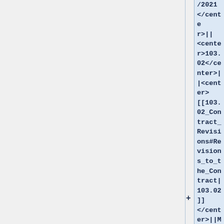/2021</center>||<center>103.02</center>||<center>[[103.02_Contract_Revisions#Revisions_to_the_Contract|103.02]]</center>||Minor text edits of 103.02 Revisions to the Contract and 2012 to 2020 Spec Book Reference updates.||